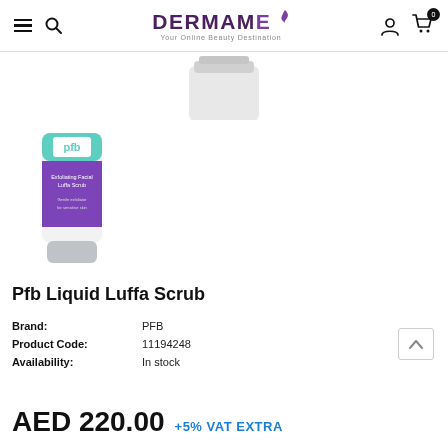DERMAME – Your Online Beauty Destination
[Figure (photo): Partial top view of a white cosmetic product tube/container cropped at the top of the page]
[Figure (photo): PFB Liquid Luffa Scrub product thumbnail – white tube with teal and purple label]
Pfb Liquid Luffa Scrub
Brand: PFB
Product Code: 11194248
Availability: In stock
AED 220.00 +5% VAT EXTRA